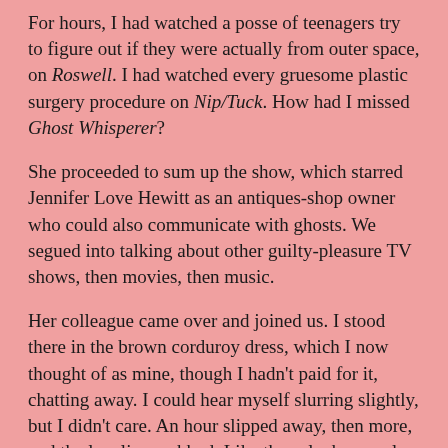For hours, I had watched a posse of teenagers try to figure out if they were actually from outer space, on Roswell. I had watched every gruesome plastic surgery procedure on Nip/Tuck. How had I missed Ghost Whisperer?
She proceeded to sum up the show, which starred Jennifer Love Hewitt as an antiques-shop owner who could also communicate with ghosts. We segued into talking about other guilty-pleasure TV shows, then movies, then music.
Her colleague came over and joined us. I stood there in the brown corduroy dress, which I now thought of as mine, though I hadn't paid for it, chatting away. I could hear myself slurring slightly, but I didn't care. An hour slipped away, then more, and the loneliness ebbed. Like those lucky people in their brownstones, I had people to beat back the Sunday night blues with too.
Without hesitating, I bought the dress. Sure, alcohol tends to make me shop, and tell myself things like 'Hey, at least I'm not getting drunk then binge-eating or sleeping with random guys. But also—I'd been in there all evening, and